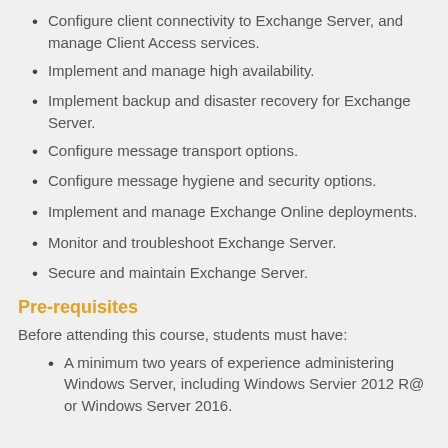Configure client connectivity to Exchange Server, and manage Client Access services.
Implement and manage high availability.
Implement backup and disaster recovery for Exchange Server.
Configure message transport options.
Configure message hygiene and security options.
Implement and manage Exchange Online deployments.
Monitor and troubleshoot Exchange Server.
Secure and maintain Exchange Server.
Pre-requisites
Before attending this course, students must have:
A minimum two years of experience administering Windows Server, including Windows Servier 2012 R@ or Windows Server 2016.